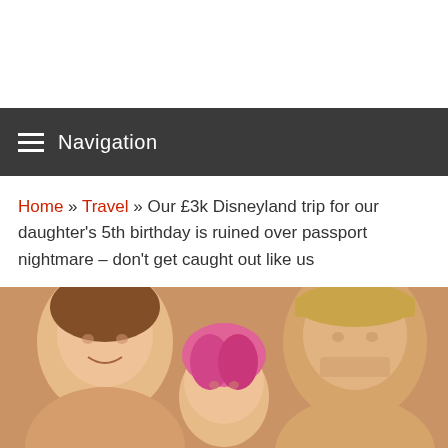Navigation
Home » Travel » Our £3k Disneyland trip for our daughter's 5th birthday is ruined over passport nightmare – don't get caught out like us
[Figure (photo): Selfie photo of a woman on the left, a child in the middle with pink highlights in their hair, and a man wearing a cap on the right, all smiling]